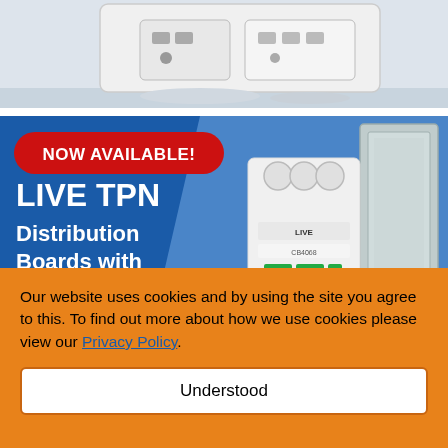[Figure (photo): Top portion of a product image showing an electrical socket/outlet against a light gray background]
[Figure (photo): Promotional banner with blue background showing LIVE TPN Distribution Boards with built-in CRD. A red rounded badge says NOW AVAILABLE! with white text. A 3-pole circuit breaker (blue and white) and a gray distribution board box are shown on the right side. White bold text reads LIVE TPN Distribution Boards with (built-in CRD partially visible).]
Our website uses cookies and by using the site you agree to this. To find out more about how we use cookies please view our Privacy Policy.
Understood